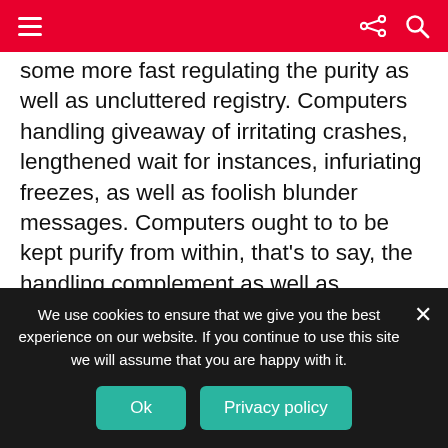some more fast regulating the purity as well as uncluttered registry. Computers handling giveaway of irritating crashes, lengthened wait for instances, infuriating freezes, as well as foolish blunder messages. Computers ought to to be kept purify from within, that's to say, the handling complement as well as additionally the mechanism software. To keep your mechanism complement in tip rated efficiency, it is essentially suggested to intermittently purify your Windows registry with the infallible as well as in effect
We use cookies to ensure that we give you the best experience on our website. If you continue to use this site we will assume that you are happy with it.
Ok
Privacy policy